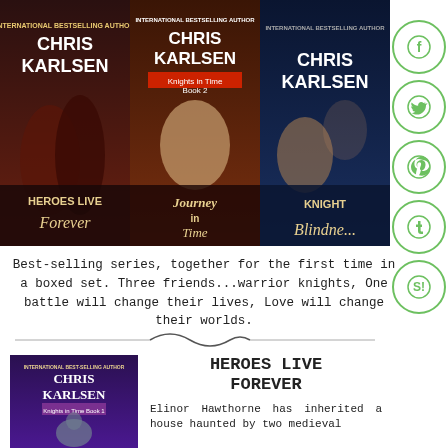[Figure (photo): Three book covers by Chris Karlsen: Heroes Live Forever, Journey in Time, and Knight Blindness — shown side by side in a boxed set promotional image]
Best-selling series, together for the first time in a boxed set. Three friends...warrior knights, One battle will change their lives, Love will change their worlds.
[Figure (illustration): Decorative wavy divider line]
[Figure (photo): Book cover: Heroes Live Forever by Chris Karlsen — International Best-Selling Author, showing a medieval knight]
HEROES LIVE FOREVER
Elinor Hawthorne has inherited a house haunted by two medieval